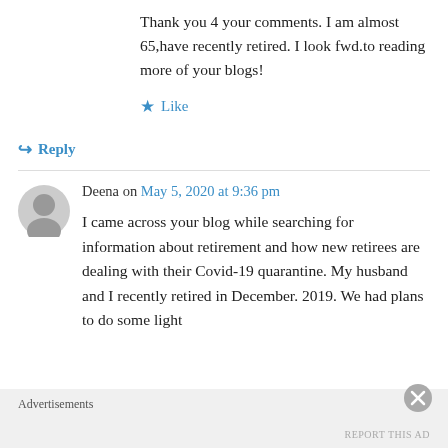Thank you 4 your comments. I am almost 65,have recently retired. I look fwd.to reading more of your blogs!
★ Like
↳ Reply
Deena on May 5, 2020 at 9:36 pm
I came across your blog while searching for information about retirement and how new retirees are dealing with their Covid-19 quarantine. My husband and I recently retired in December. 2019. We had plans to do some light
Advertisements